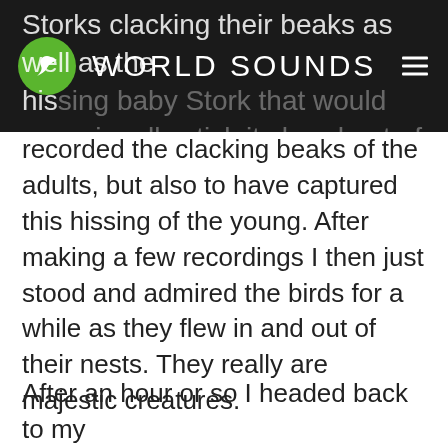WORLD SOUNDS
Storks clacking their beaks as well as the hissing baby Stork that would occasionally stick its head out of the nest. I was so happy to have not only recorded the clacking beaks of the adults, but also to have captured this hissing of the young. After making a few recordings I then just stood and admired the birds for a while as they flew in and out of their nests. They really are majestic creatures.
After an hour or so I headed back to my